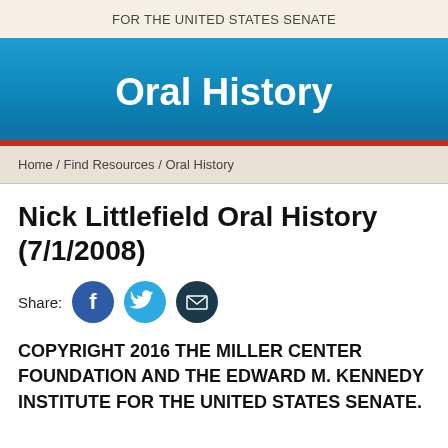FOR THE UNITED STATES SENATE
Oral History
Home / Find Resources / Oral History
Nick Littlefield Oral History (7/1/2008)
Share:
[Figure (infographic): Social share icons: Facebook (blue circle with f), Twitter (light blue circle with bird), Email (dark teal circle with envelope)]
COPYRIGHT 2016 THE MILLER CENTER FOUNDATION AND THE EDWARD M. KENNEDY INSTITUTE FOR THE UNITED STATES SENATE.